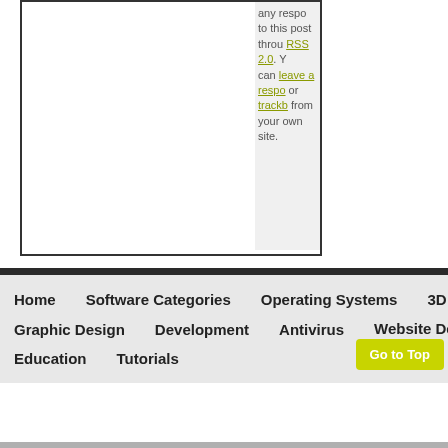any responses to this post through RSS 2.0. You can leave a response or trackback from your own site.
Home
Software Categories
Operating Systems
3D CAD
Graphic Design
Development
Antivirus
Website Design
Education
Tutorials
Go to Top